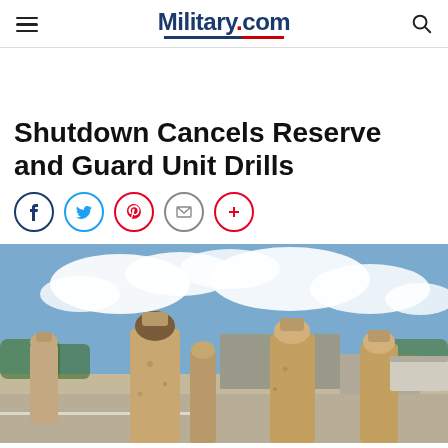Military.com
Shutdown Cancels Reserve and Guard Unit Drills
[Figure (photo): Military personnel in desert camouflage uniforms standing on a tarmac or parade ground with cloudy sky in the background.]